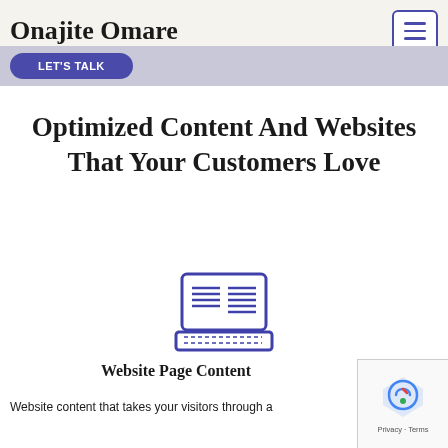Onajite Omare
Optimized Content And Websites That Your Customers Love
[Figure (illustration): Laptop computer icon drawn in outline style with blue/purple color, showing a document with text lines on the screen]
Website Page Content
Website content that takes your visitors through a